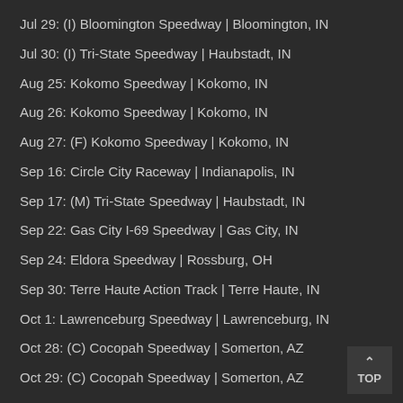Jul 29: (I) Bloomington Speedway | Bloomington, IN
Jul 30: (I) Tri-State Speedway | Haubstadt, IN
Aug 25: Kokomo Speedway | Kokomo, IN
Aug 26: Kokomo Speedway | Kokomo, IN
Aug 27: (F) Kokomo Speedway | Kokomo, IN
Sep 16: Circle City Raceway | Indianapolis, IN
Sep 17: (M) Tri-State Speedway | Haubstadt, IN
Sep 22: Gas City I-69 Speedway | Gas City, IN
Sep 24: Eldora Speedway | Rossburg, OH
Sep 30: Terre Haute Action Track | Terre Haute, IN
Oct 1: Lawrenceburg Speedway | Lawrenceburg, IN
Oct 28: (C) Cocopah Speedway | Somerton, AZ
Oct 29: (C) Cocopah Speedway | Somerton, AZ